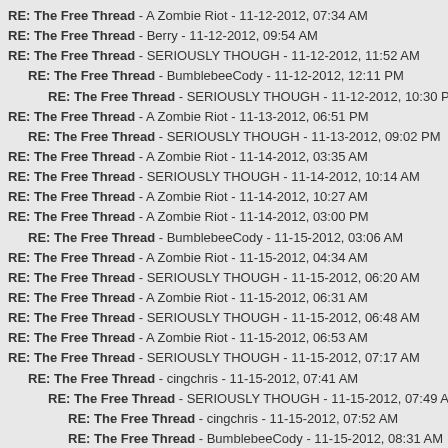RE: The Free Thread - A Zombie Riot - 11-12-2012, 07:34 AM
RE: The Free Thread - Berry - 11-12-2012, 09:54 AM
RE: The Free Thread - SERIOUSLY THOUGH - 11-12-2012, 11:52 AM
RE: The Free Thread - BumblebeeCody - 11-12-2012, 12:11 PM
RE: The Free Thread - SERIOUSLY THOUGH - 11-12-2012, 10:30 PM
RE: The Free Thread - A Zombie Riot - 11-13-2012, 06:51 PM
RE: The Free Thread - SERIOUSLY THOUGH - 11-13-2012, 09:02 PM
RE: The Free Thread - A Zombie Riot - 11-14-2012, 03:35 AM
RE: The Free Thread - SERIOUSLY THOUGH - 11-14-2012, 10:14 AM
RE: The Free Thread - A Zombie Riot - 11-14-2012, 10:27 AM
RE: The Free Thread - A Zombie Riot - 11-14-2012, 03:00 PM
RE: The Free Thread - BumblebeeCody - 11-15-2012, 03:06 AM
RE: The Free Thread - A Zombie Riot - 11-15-2012, 04:34 AM
RE: The Free Thread - SERIOUSLY THOUGH - 11-15-2012, 06:20 AM
RE: The Free Thread - A Zombie Riot - 11-15-2012, 06:31 AM
RE: The Free Thread - SERIOUSLY THOUGH - 11-15-2012, 06:48 AM
RE: The Free Thread - A Zombie Riot - 11-15-2012, 06:53 AM
RE: The Free Thread - SERIOUSLY THOUGH - 11-15-2012, 07:17 AM
RE: The Free Thread - cingchris - 11-15-2012, 07:41 AM
RE: The Free Thread - SERIOUSLY THOUGH - 11-15-2012, 07:49 AM
RE: The Free Thread - cingchris - 11-15-2012, 07:52 AM
RE: The Free Thread - BumblebeeCody - 11-15-2012, 08:31 AM
RE: The Free Thread - A Zombie Riot - 11-15-2012, 08:41 AM
RE: The Free Thread - The Antagonist - 11-15-2012, 10:36 AM
RE: The Free Thread - SERIOUSLY THOUGH - 11-15-2012, 10:52 AM